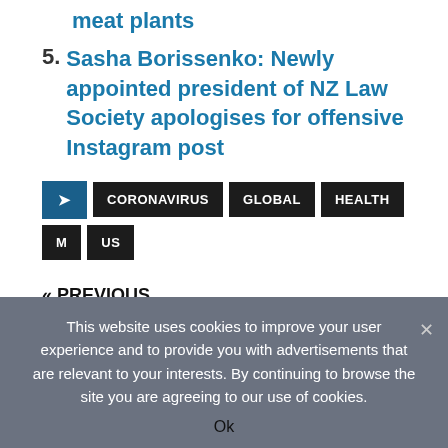meat plants
5. Sasha Borissenko: Newly appointed president of NZ Law Society apologises for offensive Instagram post
CORONAVIRUS  GLOBAL  HEALTH  M  US
« PREVIOUS
Alberta woman says positive test for coronavirus 'feels so unreal'
NEXT »
This website uses cookies to improve your user experience and to provide you with advertisements that are relevant to your interests. By continuing to browse the site you are agreeing to our use of cookies.
Ok